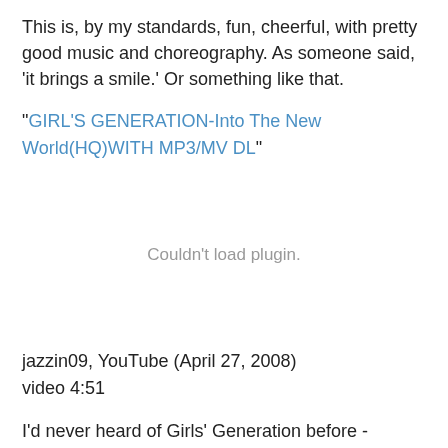This is, by my standards, fun, cheerful, with pretty good music and choreography. As someone said, 'it brings a smile.' Or something like that.
"GIRL'S GENERATION-Into The New World(HQ)WITH MP3/MV DL"
[Figure (other): Couldn't load plugin. - placeholder for an embedded video plugin that failed to load]
jazzin09, YouTube (April 27, 2008)
video 4:51
I'd never heard of Girls' Generation before - possibly because my command of Korean is extremely sketchy at